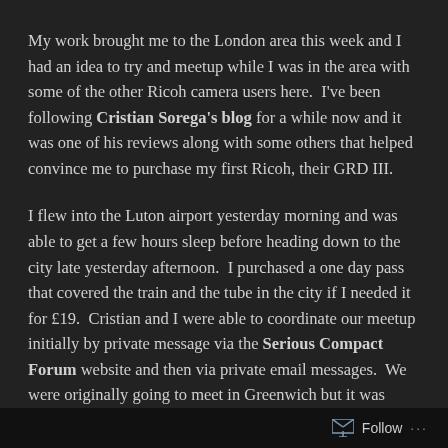My work brought me to the London area this week and I had an idea to try and meetup while I was in the area with some of the other Ricoh camera users here.  I've been following Cristian Sorega's blog for a while now and it was one of his reviews along with some others that helped convince me to purchase my first Ricoh, their GRD III.
I flew into the Luton airport yesterday morning and was able to get a few hours sleep before heading down to the city late yesterday afternoon.  I purchased a one day pass that covered the train and the tube in the city if I needed it for £19.  Cristian and I were able to coordinate our meetup initially by private message via the Serious Compact Forum website and then via private email messages.  We were originally going to meet in Greenwich but it was easier
Follow